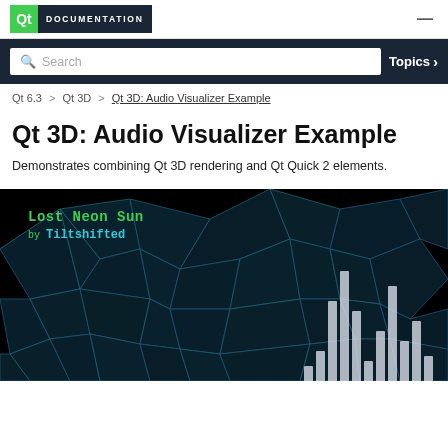Qt DOCUMENTATION
Search  Topics >
Qt 6.3 > Qt 3D > Qt 3D: Audio Visualizer Example
Qt 3D: Audio Visualizer Example
Demonstrates combining Qt 3D rendering and Qt Quick 2 elements.
[Figure (screenshot): Screenshot of the Qt 3D Audio Visualizer example showing a dark background with cyan wireframe polygon shapes, green text 'Lost Neon Sun by Tiltshifted', and white vertical audio equalizer bars in the lower right.]